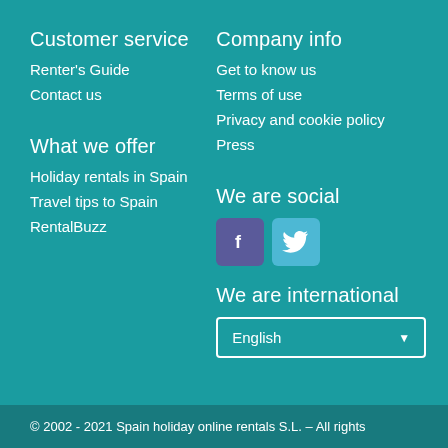Customer service
Renter's Guide
Contact us
Company info
Get to know us
Terms of use
Privacy and cookie policy
Press
What we offer
Holiday rentals in Spain
Travel tips to Spain
RentalBuzz
We are social
[Figure (illustration): Facebook and Twitter social media icons]
We are international
English
© 2002 - 2021 Spain holiday online rentals S.L. – All rights